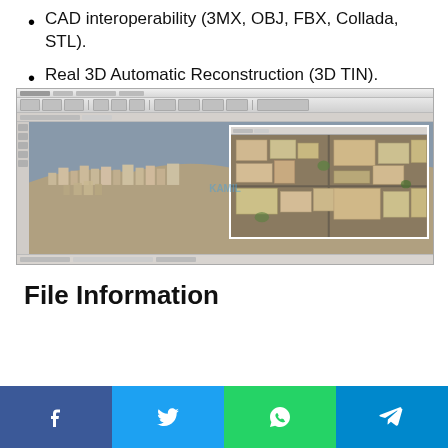CAD interoperability (3MX, OBJ, FBX, Collada, STL).
Real 3D Automatic Reconstruction (3D TIN).
[Figure (screenshot): Software screenshot showing a 3D reconstruction of a coastal city with an inset zoomed view of buildings, displayed in a CAD/GIS application with toolbars.]
File Information
[Figure (infographic): Social media sharing bar with Facebook, Twitter, WhatsApp, and Telegram buttons.]